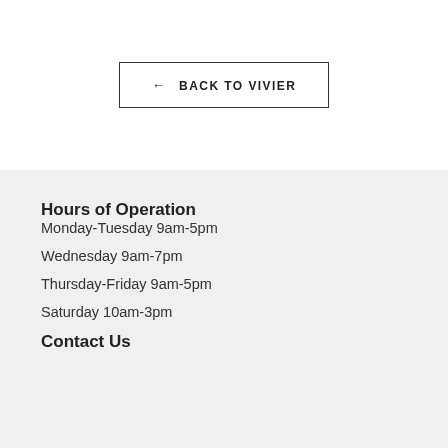← BACK TO VIVIER
Hours of Operation
Monday-Tuesday 9am-5pm
Wednesday 9am-7pm
Thursday-Friday 9am-5pm
Saturday 10am-3pm
Contact Us